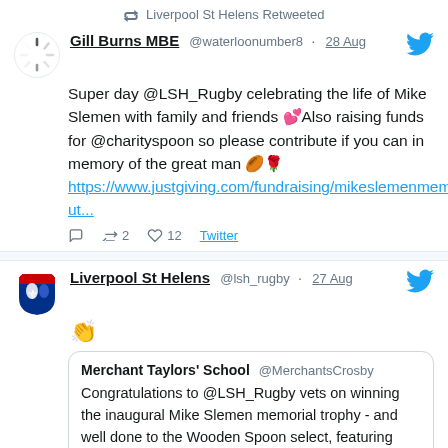Liverpool St Helens Retweeted
Gill Burns MBE @waterloonumber8 · 28 Aug
Super day @LSH_Rugby celebrating the life of Mike Slemen with family and friends 💕Also raising funds for @charityspoon so please contribute if you can in memory of the great man 🏉🌹 https://www.justgiving.com/fundraising/mikeslemenmemut...
2  12  Twitter
Liverpool St Helens @lsh_rugby · 27 Aug
👏
Merchant Taylors' School @MerchantsCrosby
Congratulations to @LSH_Rugby vets on winning the inaugural Mike Slemen memorial trophy - and well done to the Wooden Spoon select, featuring several OCs, on a great match 🏉